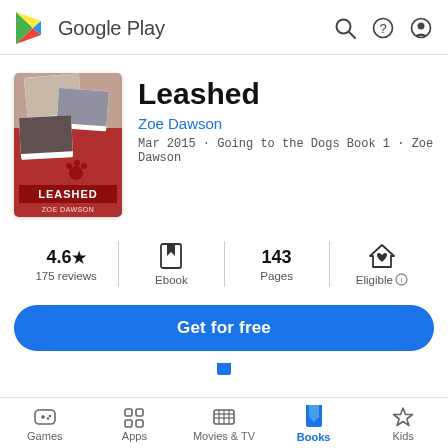Google Play
[Figure (screenshot): Book cover for 'Leashed' by Zoe Dawson — red and white collage with dog and romantic imagery]
Leashed
Zoe Dawson
Mar 2015 · Going to the Dogs Book 1 · Zoe Dawson
4.6★
175 reviews
Ebook
143
Pages
Eligible ⓘ
Get for free
Games  Apps  Movies & TV  Books  Kids